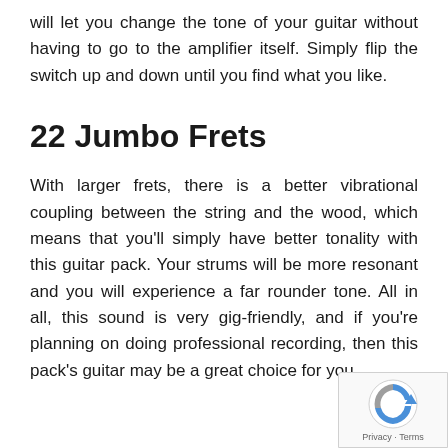will let you change the tone of your guitar without having to go to the amplifier itself. Simply flip the switch up and down until you find what you like.
22 Jumbo Frets
With larger frets, there is a better vibrational coupling between the string and the wood, which means that you'll simply have better tonality with this guitar pack. Your strums will be more resonant and you will experience a far rounder tone. All in all, this sound is very gig-friendly, and if you're planning on doing professional recording, then this pack's guitar may be a great choice for you.